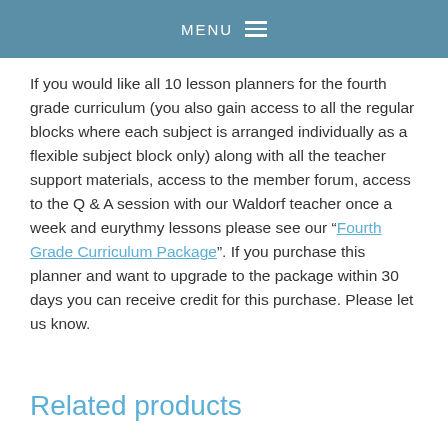MENU
If you would like all 10 lesson planners for the fourth grade curriculum (you also gain access to all the regular blocks where each subject is arranged individually as a flexible subject block only) along with all the teacher support materials, access to the member forum, access to the Q & A session with our Waldorf teacher once a week and eurythmy lessons please see our “Fourth Grade Curriculum Package”. If you purchase this planner and want to upgrade to the package within 30 days you can receive credit for this purchase. Please let us know.
Related products